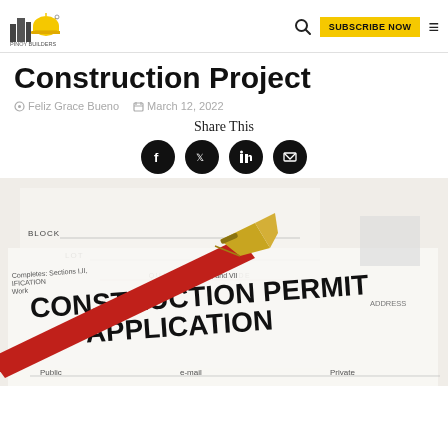Pinoy Builders — SUBSCRIBE NOW
Construction Project
Feliz Grace Bueno   March 12, 2022
Share This
[Figure (photo): A red and gold fountain pen resting on a Construction Permit Application form, showing fields for block, lot, qualification code, address, public, e-mail, private, and sections referencing construction codes.]